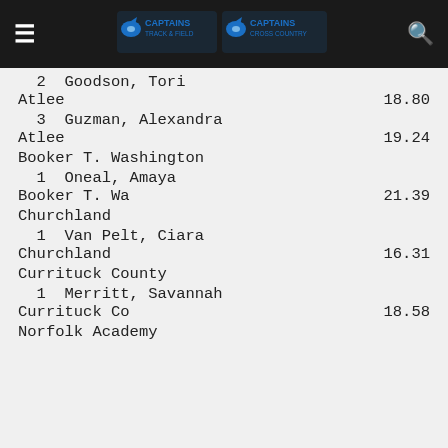Captains Track & Field / Captains Cross Country
2  Goodson, Tori
Atlee  18.80
3  Guzman, Alexandra
Atlee  19.24
Booker T. Washington
1  Oneal, Amaya
Booker T. Wa  21.39
Churchland
1  Van Pelt, Ciara
Churchland  16.31
Currituck County
1  Merritt, Savannah
Currituck Co  18.58
Norfolk Academy